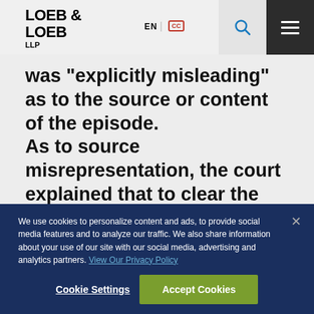LOEB & LOEB LLP | EN | CC
was "explicitly misleading" as to the source or content of the episode.
As to source misrepresentation, the court explained that to clear the second prong of Rogers under Ninth Circuit precedent, Dickinson’s appearance must have explicitly misled consumers into believing that Dickinson “endorsed or sponsored
We use cookies to personalize content and ads, to provide social media features and to analyze our traffic. We also share information about your use of our site with our social media, advertising and analytics partners. View Our Privacy Policy
Cookie Settings
Accept Cookies